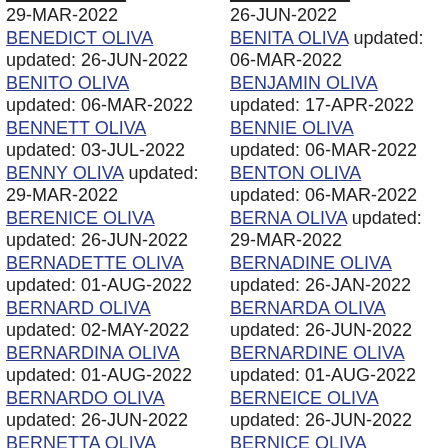29-MAR-2022
26-JUN-2022
BENEDICT OLIVA updated: 26-JUN-2022
BENITA OLIVA updated: 06-MAR-2022
BENITO OLIVA updated: 06-MAR-2022
BENJAMIN OLIVA updated: 17-APR-2022
BENNETT OLIVA updated: 03-JUL-2022
BENNIE OLIVA updated: 06-MAR-2022
BENNY OLIVA updated: 29-MAR-2022
BENTON OLIVA updated: 06-MAR-2022
BERENICE OLIVA updated: 26-JUN-2022
BERNA OLIVA updated: 29-MAR-2022
BERNADETTE OLIVA updated: 01-AUG-2022
BERNADINE OLIVA updated: 26-JAN-2022
BERNARD OLIVA updated: 02-MAY-2022
BERNARDA OLIVA updated: 26-JUN-2022
BERNARDINA OLIVA updated: 01-AUG-2022
BERNARDINE OLIVA updated: 01-AUG-2022
BERNARDO OLIVA updated: 26-JUN-2022
BERNEICE OLIVA updated: 26-JUN-2022
BERNETTA OLIVA
BERNICE OLIVA